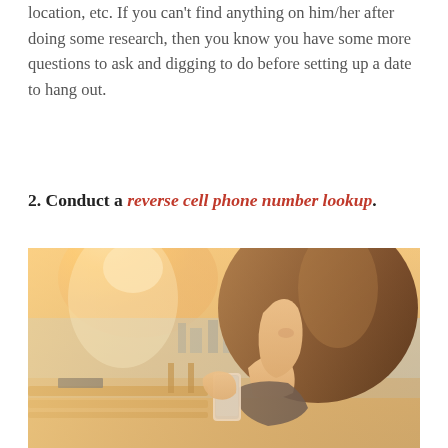location, etc. If you can't find anything on him/her after doing some research, then you know you have some more questions to ask and digging to do before setting up a date to hang out.
2. Conduct a reverse cell phone number lookup.
[Figure (photo): A young woman with long brown hair looking down at her smartphone, sitting outdoors on a bench with a cityscape and warm sunlight in the background.]